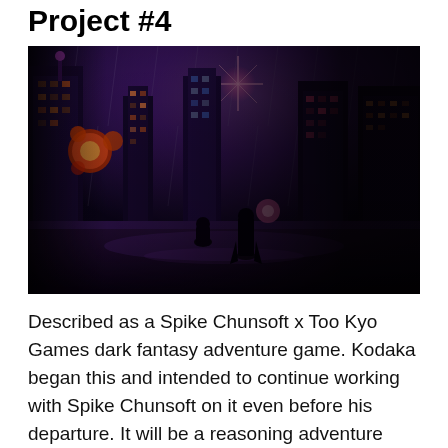Project #4
[Figure (illustration): Anime-style cyberpunk/dark fantasy cityscape at night with rain, glowing neon lights in purple and pink tones, futuristic industrial buildings, and two silhouetted figures in the foreground]
Described as a Spike Chunsoft x Too Kyo Games dark fantasy adventure game. Kodaka began this and intended to continue working with Spike Chunsoft on it even before his departure. It will be a reasoning adventure game in a unique dark fantasy-style world inspired by Tim Burton.